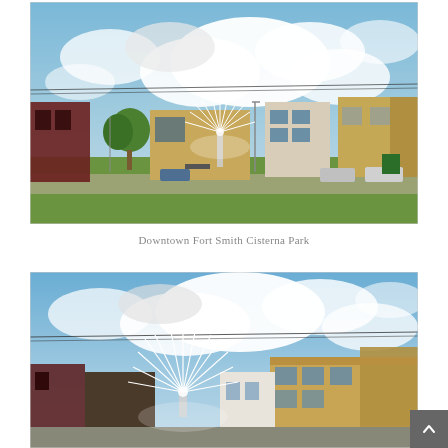[Figure (photo): Outdoor daytime photo of Downtown Fort Smith, Arkansas showing Cisterna Park with a fountain/dandelion sculpture, brick commercial buildings, green lawn, parked cars, street lights, and a partly cloudy blue sky.]
Downtown Fort Smith Cisterna Park
[Figure (photo): Second outdoor daytime photo of the same Downtown Fort Smith Cisterna Park area, closer view showing the dandelion fountain sculpture, tan brick building facades, blue sky with clouds, and overhead wires.]